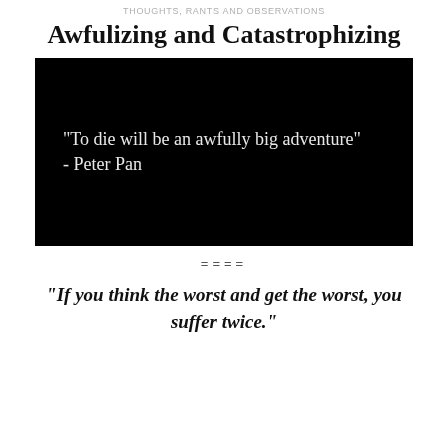THOUGHTS, RANTS AND OBSERVATIONS
Awfulizing and Catastrophizing
[Figure (photo): Black background image with white serif text reading: "To die will be an awfully big adventure" - Peter Pan]
====
“If you think the worst and get the worst, you suffer twice.”